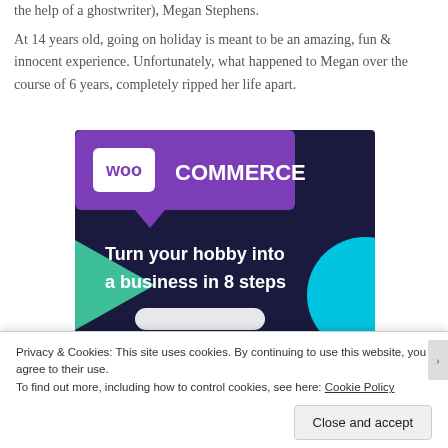the help of a ghostwriter), Megan Stephens.
At 14 years old, going on holiday is meant to be an amazing, fun & innocent experience. Unfortunately, what happened to Megan over the course of 6 years, completely ripped her life apart.
[Figure (illustration): WooCommerce advertisement banner with dark navy/purple background, green triangle shape, cyan circle, purple speech bubble logo with 'woo COMMERCE' text, and white bold text reading 'Turn your hobby into a business in 8 steps']
Privacy & Cookies: This site uses cookies. By continuing to use this website, you agree to their use.
To find out more, including how to control cookies, see here: Cookie Policy
Close and accept